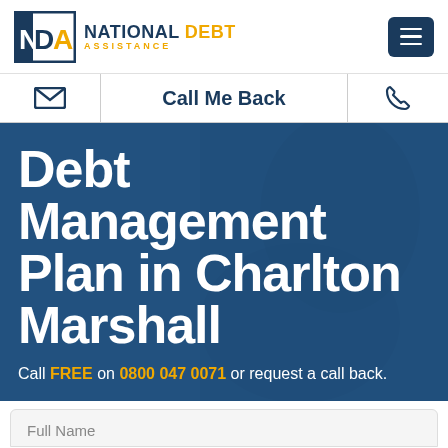[Figure (logo): National Debt Assistance logo with NDA initials in a navy blue box and text 'NATIONAL DEBT ASSISTANCE']
Call Me Back
Debt Management Plan in Charlton Marshall
Call FREE on 0800 047 0071 or request a call back.
Full Name